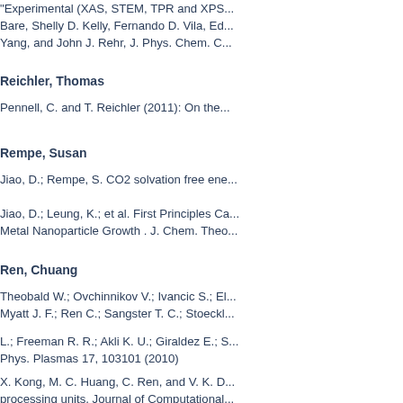"Experimental (XAS, STEM, TPR and XPS... Bare, Shelly D. Kelly, Fernando D. Vila, Ed... Yang, and John J. Rehr, J. Phys. Chem. C...
Reichler, Thomas
Pennell, C. and T. Reichler (2011): On the...
Rempe, Susan
Jiao, D.; Rempe, S. CO2 solvation free ene...
Jiao, D.; Leung, K.; et al. First Principles Ca... Metal Nanoparticle Growth . J. Chem. Theo...
Ren, Chuang
Theobald W.; Ovchinnikov V.; Ivancic S.; El... Myatt J. F.; Ren C.; Sangster T. C.; Stoeckl...
L.; Freeman R. R.; Akli K. U.; Giraldez E.; S... Phys. Plasmas 17, 103101 (2010)
X. Kong, M. C. Huang, C. Ren, and V. K. D... processing units, Journal of Computational...